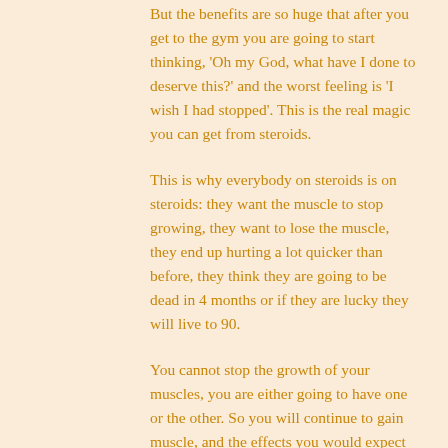But the benefits are so huge that after you get to the gym you are going to start thinking, 'Oh my God, what have I done to deserve this?' and the worst feeling is 'I wish I had stopped'. This is the real magic you can get from steroids.
This is why everybody on steroids is on steroids: they want the muscle to stop growing, they want to lose the muscle, they end up hurting a lot quicker than before, they think they are going to be dead in 4 months or if they are lucky they will live to 90.
You cannot stop the growth of your muscles, you are either going to have one or the other. So you will continue to gain muscle, and the effects you would expect of steroids are exactly the same as those of regular exercise. But the results will be less than those of a clean workout.